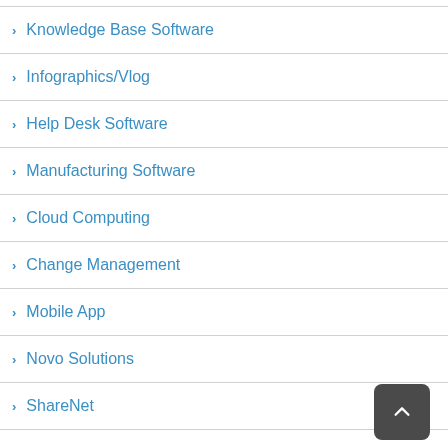Knowledge Base Software
Infographics/Vlog
Help Desk Software
Manufacturing Software
Cloud Computing
Change Management
Mobile App
Novo Solutions
ShareNet